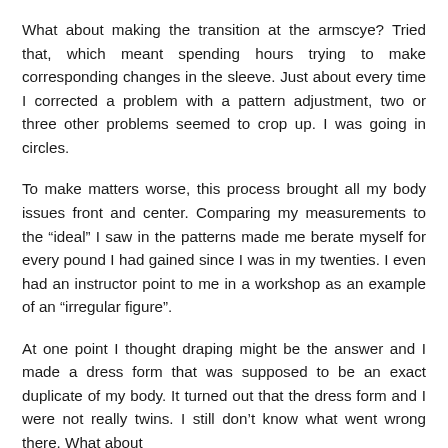What about making the transition at the armscye? Tried that, which meant spending hours trying to make corresponding changes in the sleeve. Just about every time I corrected a problem with a pattern adjustment, two or three other problems seemed to crop up. I was going in circles.
To make matters worse, this process brought all my body issues front and center. Comparing my measurements to the “ideal” I saw in the patterns made me berate myself for every pound I had gained since I was in my twenties. I even had an instructor point to me in a workshop as an example of an “irregular figure”.
At one point I thought draping might be the answer and I made a dress form that was supposed to be an exact duplicate of my body. It turned out that the dress form and I were not really twins. I still don’t know what went wrong there. What about